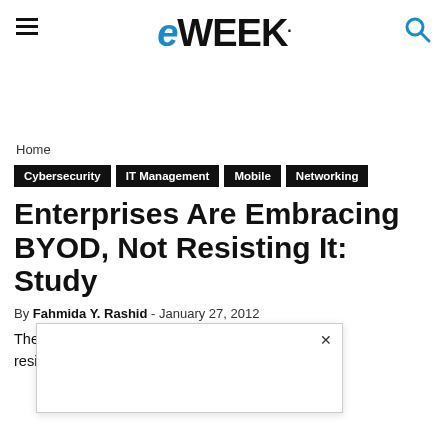eWEEK
Home
Cybersecurity
IT Management
Mobile
Networking
Enterprises Are Embracing BYOD, Not Resisting It: Study
By Fahmida Y. Rashid - January 27, 2012
The idea ... are resisting ... ringing